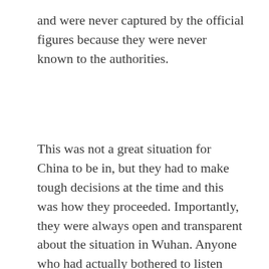and were never captured by the official figures because they were never known to the authorities.
This was not a great situation for China to be in, but they had to make tough decisions at the time and this was how they proceeded. Importantly, they were always open and transparent about the situation in Wuhan. Anyone who had actually bothered to listen would know that China was telling us the situation was actually worse than the official figures suggested. Just because the West didn't